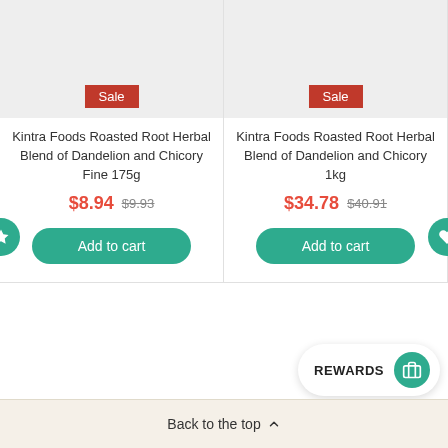[Figure (other): Product image placeholder - grey rectangle with Sale badge for Kintra Foods Roasted Root Herbal Blend of Dandelion and Chicory Fine 175g]
Kintra Foods Roasted Root Herbal Blend of Dandelion and Chicory Fine 175g
$8.94 $9.93
Add to cart
[Figure (other): Product image placeholder - grey rectangle with Sale badge for Kintra Foods Roasted Root Herbal Blend of Dandelion and Chicory 1kg]
Kintra Foods Roasted Root Herbal Blend of Dandelion and Chicory 1kg
$34.78 $40.91
Add to cart
REWARDS
Back to the top